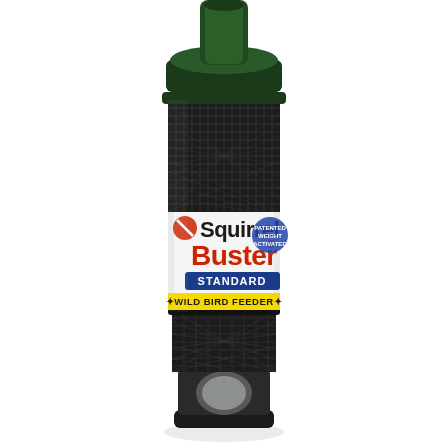[Figure (photo): Product photo of a Squirrel Buster Standard Wild Bird Feeder. The feeder is cylindrical with dark green/black metal mesh cage surrounding a tube feeder. It has a green cap on top, a label in the middle reading 'Squirrel Buster STANDARD *WILD BIRD FEEDER*' with 'Squirrel' in dark text, 'Buster' in red text, 'STANDARD' on a blue banner, and '*WILD BIRD FEEDER*' on a yellow banner. The lower portion shows the feeder ports and base. Background is white.]